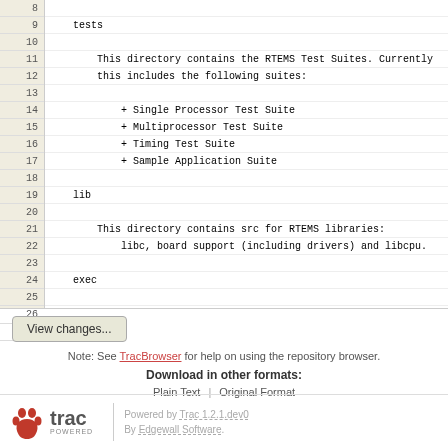Code listing lines 8-27 showing RTEMS directory structure documentation
9: tests
11: This directory contains the RTEMS Test Suites. Currently
12: this includes the following suites:
14: + Single Processor Test Suite
15: + Multiprocessor Test Suite
16: + Timing Test Suite
17: + Sample Application Suite
19: lib
21: This directory contains src for RTEMS libraries:
22: libc, board support (including drivers) and libcpu.
24: exec
26: This directory contains the source code for the RTEMS executive.
View changes...
Note: See TracBrowser for help on using the repository browser.
Download in other formats:
Plain Text | Original Format
Powered by Trac 1.2.1.dev0 By Edgewall Software.